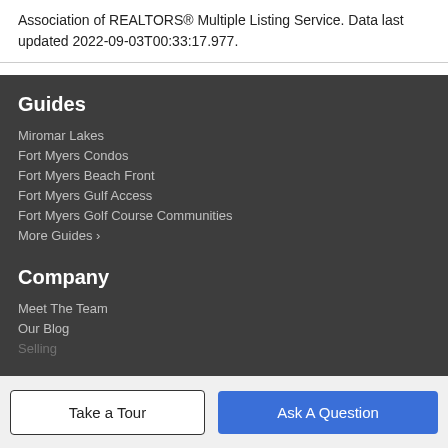Association of REALTORS® Multiple Listing Service. Data last updated 2022-09-03T00:33:17.977.
Guides
Miromar Lakes
Fort Myers Condos
Fort Myers Beach Front
Fort Myers Gulf Access
Fort Myers Golf Course Communities
More Guides ›
Company
Meet The Team
Our Blog
Take a Tour | Ask A Question